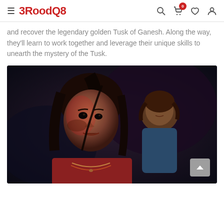3RoodQ8
and recover the legendary golden Tusk of Ganesh. Along the way, they'll learn to work together and leverage their unique skills to unearth the mystery of the Tusk.
[Figure (photo): Screenshot from a video game showing two female characters in a dark setting. The foreground character has dark hair, wearing a red shirt and necklaces. A second character appears in the background.]